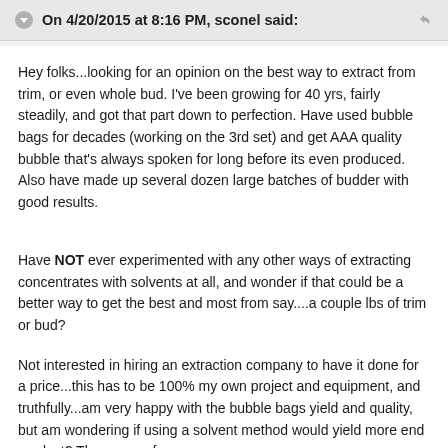On 4/20/2015 at 8:16 PM, sconel said:
Hey folks...looking for an opinion on the best way to extract from trim, or even whole bud. I've been growing for 40 yrs, fairly steadily, and got that part down to perfection. Have used bubble bags for decades (working on the 3rd set) and get AAA quality bubble that's always spoken for long before its even produced. Also have made up several dozen large batches of budder with good results.
Have NOT ever experimented with any other ways of extracting concentrates with solvents at all, and wonder if that could be a better way to get the best and most from say....a couple lbs of trim or bud?
Not interested in hiring an extraction company to have it done for a price...this has to be 100% my own project and equipment, and truthfully...am very happy with the bubble bags yield and quality, but am wondering if using a solvent method would yield more end product? There are a few